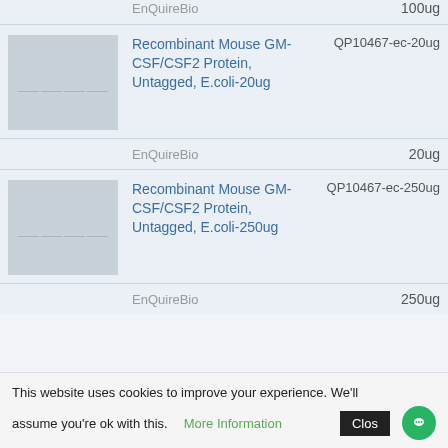EnQuireBio   100ug
[Figure (photo): Product image thumbnail for Recombinant Mouse GM-CSF/CSF2 Protein, Untagged, E.coli-20ug]
Recombinant Mouse GM-CSF/CSF2 Protein, Untagged, E.coli-20ug   QP10467-ec-20ug
EnQuireBio   20ug
[Figure (photo): Product image thumbnail for Recombinant Mouse GM-CSF/CSF2 Protein, Untagged, E.coli-250ug]
Recombinant Mouse GM-CSF/CSF2 Protein, Untagged, E.coli-250ug   QP10467-ec-250ug
EnQuireBio   250ug
This website uses cookies to improve your experience. We'll assume you're ok with this. More Information Close